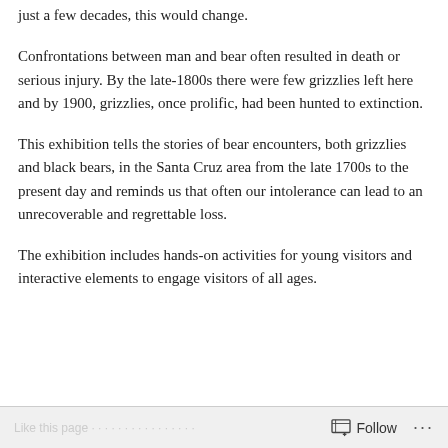just a few decades, this would change.
Confrontations between man and bear often resulted in death or serious injury. By the late-1800s there were few grizzlies left here and by 1900, grizzlies, once prolific, had been hunted to extinction.
This exhibition tells the stories of bear encounters, both grizzlies and black bears, in the Santa Cruz area from the late 1700s to the present day and reminds us that often our intolerance can lead to an unrecoverable and regrettable loss.
The exhibition includes hands-on activities for young visitors and interactive elements to engage visitors of all ages.
Follow ...